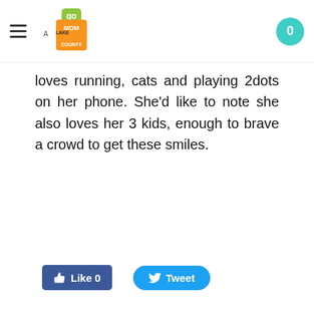Go Mom Go County — navigation header with hamburger menu and cart badge showing 0
loves running, cats and playing 2dots on her phone. She'd like to note she also loves her 3 kids, enough to brave a crowd to get these smiles.
[Figure (screenshot): Facebook Like button showing 'Like 0' and Twitter Tweet button]
Leave a Reply.
Name (required)
Email (not published)